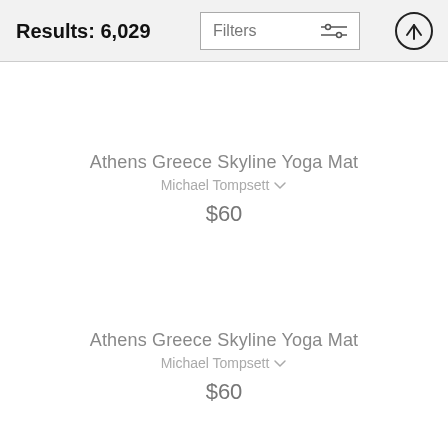Results: 6,029
Athens Greece Skyline Yoga Mat
Michael Tompsett
$60
Athens Greece Skyline Yoga Mat
Michael Tompsett
$60